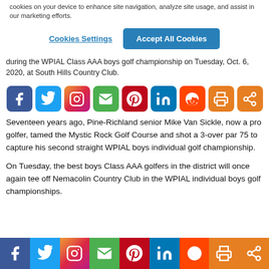cookies on your device to enhance site navigation, analyze site usage, and assist in our marketing efforts.
Cookies Settings | Accept All Cookies
during the WPIAL Class AAA boys golf championship on Tuesday, Oct. 6, 2020, at South Hills Country Club.
[Figure (infographic): Row of social media sharing icons: Facebook, Twitter, Instagram, Email, Pinterest, LinkedIn, Reddit, Print, Share]
Seventeen years ago, Pine-Richland senior Mike Van Sickle, now a pro golfer, tamed the Mystic Rock Golf Course and shot a 3-over par 75 to capture his second straight WPIAL boys individual golf championship.
On Tuesday, the best boys Class AAA golfers in the district will once again tee off Nemacolin Country Club in the WPIAL individual boys golf championships.
[Figure (infographic): Row of social media sharing icons at bottom: Facebook, Twitter, Instagram, Email, Pinterest, LinkedIn, Reddit, Print, Share]